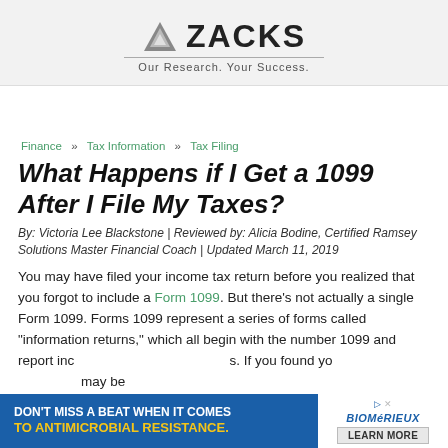[Figure (logo): Zacks Investment Research logo with triangle icon and tagline 'Our Research. Your Success.']
Finance » Tax Information » Tax Filing
What Happens if I Get a 1099 After I File My Taxes?
By: Victoria Lee Blackstone | Reviewed by: Alicia Bodine, Certified Ramsey Solutions Master Financial Coach | Updated March 11, 2019
You may have filed your income tax return before you realized that you forgot to include a Form 1099. But there's not actually a single Form 1099. Forms 1099 represent a series of forms called "information returns," which all begin with the number 1099 and report inc ... s. If you found yo ... may be
[Figure (infographic): Advertisement banner: DON'T MISS A BEAT WHEN IT COMES TO ANTIMICROBIAL RESISTANCE. BioMerieux logo. LEARN MORE button.]